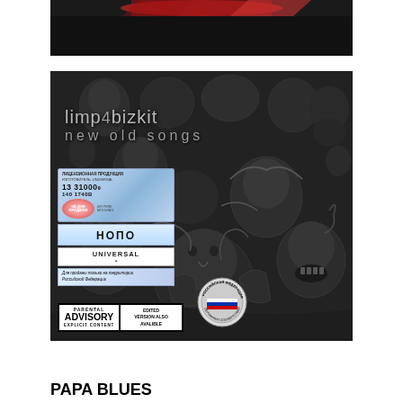[Figure (photo): Partial album cover image at top, dark background with red accent, partially cropped]
[Figure (photo): Limp Bizkit 'New Old Songs' album cover. Dark monochrome illustration of numerous grotesque faces and figures. Band name 'limp bizkit' and 'new old songs' text overlaid in gray. Russian sticker labels in top-left corner. Parental Advisory Explicit Content label and 'Edited Version Also Available' box in bottom-left. Russian certification seal in bottom-center.]
PAPA BLUES